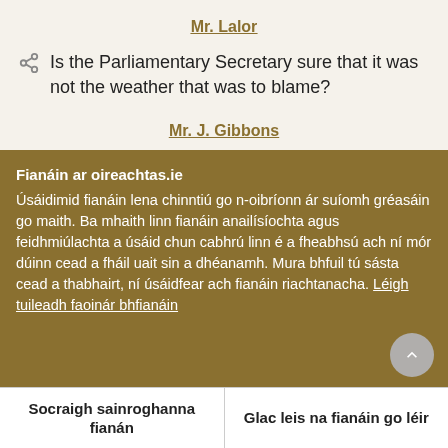Mr. Lalor
Is the Parliamentary Secretary sure that it was not the weather that was to blame?
Mr. J. Gibbons
Fianáin ar oireachtas.ie
Úsáidimid fianáin lena chinntiú go n-oibríonn ár suíomh gréasáin go maith. Ba mhaith linn fianáin anailísíochta agus feidhmiúlachta a úsáid chun cabhrú linn é a fheabhsú ach ní mór dúinn cead a fháil uait sin a dhéanamh. Mura bhfuil tú sásta cead a thabhairt, ní úsáidfear ach fianáin riachtanacha. Léigh tuileadh faoinár bhfianáin
Socraigh sainroghanna fianán
Glac leis na fianáin go léir